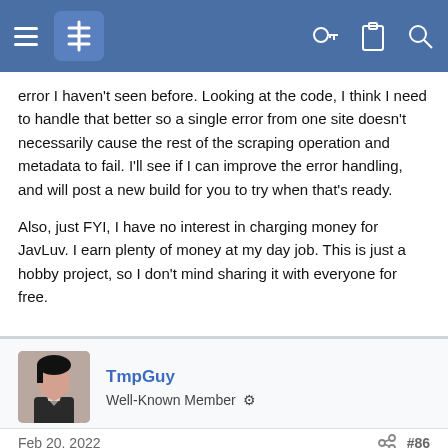Forum navigation header with hamburger menu, logo, key icon, clipboard icon, and search icon
error I haven't seen before. Looking at the code, I think I need to handle that better so a single error from one site doesn't necessarily cause the rest of the scraping operation and metadata to fail. I'll see if I can improve the error handling, and will post a new build for you to try when that's ready.
Also, just FYI, I have no interest in charging money for JavLuv. I earn plenty of money at my day job. This is just a hobby project, so I don't mind sharing it with everyone for free.
TmpGuy
Well-Known Member
Feb 20, 2022   #86
hampalang said:
Unexpected error when generating metadata